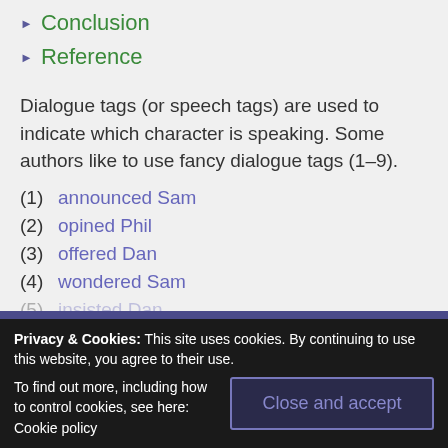▶ Conclusion
▶ Reference
Dialogue tags (or speech tags) are used to indicate which character is speaking. Some authors like to use fancy dialogue tags (1–9).
(1) announced Sam
(2) opined Phil
(3) offered Dan
(4) wondered Sam
(5) insisted Dan
Privacy & Cookies: This site uses cookies. By continuing to use this website, you agree to their use. To find out more, including how to control cookies, see here: Cookie policy Close and accept